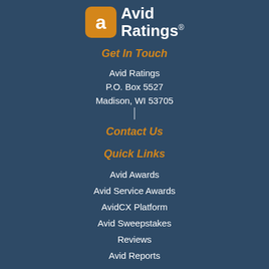[Figure (logo): Avid Ratings logo with orange square icon containing white letter 'a' and text 'Avid Ratings®']
Get In Touch
Avid Ratings
P.O. Box 5527
Madison, WI 53705
Contact Us
Quick Links
Avid Awards
Avid Service Awards
AvidCX Platform
Avid Sweepstakes
Reviews
Avid Reports